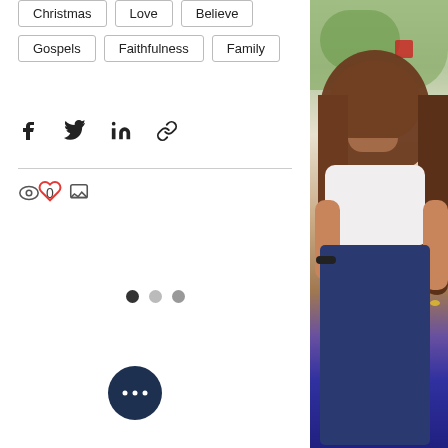Christmas
Love
Believe
Gospels
Faithfulness
Family
[Figure (infographic): Social share icons: Facebook, Twitter, LinkedIn, link/chain icon]
[Figure (infographic): View count icon with 0, comment icon, and a red heart/like icon on the right]
[Figure (infographic): Pagination dots: one dark filled, two lighter]
[Figure (photo): Photo of a smiling young woman with long brown hair, wearing a white top and jeans, sitting outdoors with green foliage in background]
[Figure (infographic): Dark navy circular button with three horizontal dots (more options)]